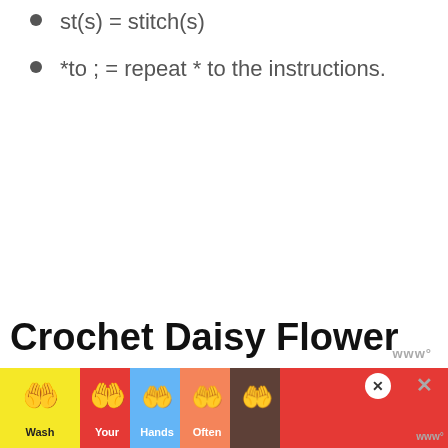st(s) = stitch(s)
*to ; = repeat * to the instructions.
www°
Crochet Daisy Flower
[Figure (other): Advertisement banner for washing hands: colorful banner with hand-washing emoji icons and text 'Wash Your Hands Often' with a close button and X button]